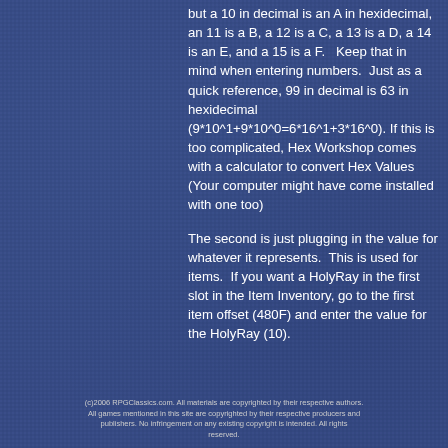but a 10 in decimal is an A in hexidecimal, an 11 is a B, a 12 is a C, a 13 is a D, a 14 is an E, and a 15 is a F.   Keep that in mind when entering numbers.  Just as a quick reference, 99 in decimal is 63 in hexidecimal (9*10^1+9*10^0=6*16^1+3*16^0). If this is too complicated, Hex Workshop comes with a calculator to convert Hex Values (Your computer might have come installed with one too)

The second is just plugging in the value for whatever it represents.  This is used for items.  If you want a HolyRay in the first slot in the Item Inventory, go to the first item offset (480F) and enter the value for the HolyRay (10).
(c)2006 RPGClassics.com. All materials are copyrighted by their respective authors. All games mentioned in this site are copyrighted by their respective producers and publishers. No infringement on any existing copyright is intended. All rights reserved.